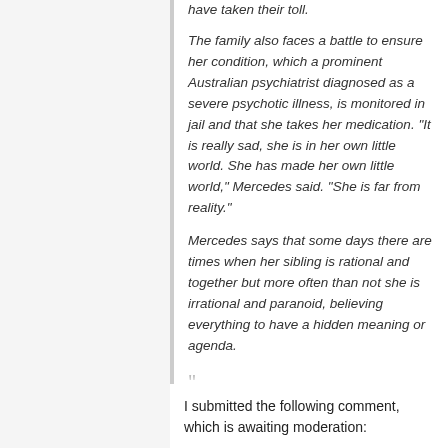The family also faces a battle to ensure her condition, which a prominent Australian psychiatrist diagnosed as a severe psychotic illness, is monitored in jail and that she takes her medication. "It is really sad, she is in her own little world. She has made her own little world," Mercedes said. "She is far from reality."
Mercedes says that some days there are times when her sibling is rational and together but more often than not she is irrational and paranoid, believing everything to have a hidden meaning or agenda.
”
I submitted the following comment, which is awaiting moderation: